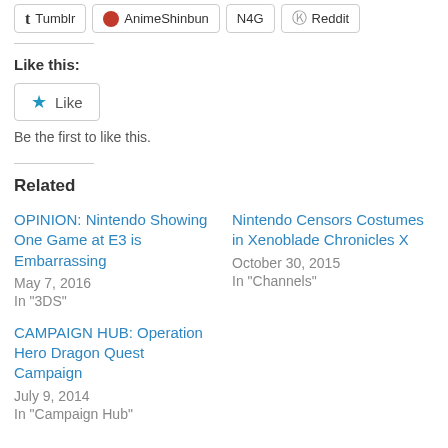[Figure (other): Social sharing buttons row: Tumblr, AnimeShinbun, N4G, Reddit]
Like this:
[Figure (other): Like button with star icon]
Be the first to like this.
Related
OPINION: Nintendo Showing One Game at E3 is Embarrassing
May 7, 2016
In "3DS"
Nintendo Censors Costumes in Xenoblade Chronicles X
October 30, 2015
In "Channels"
CAMPAIGN HUB: Operation Hero Dragon Quest Campaign
July 9, 2014
In "Campaign Hub"